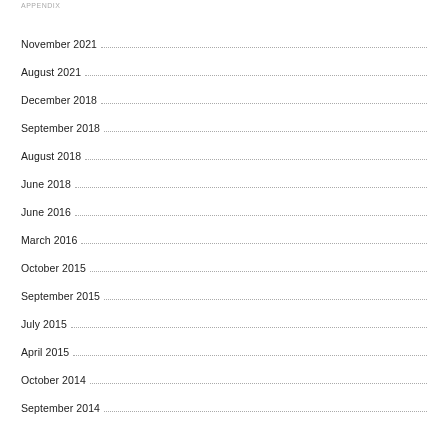APPENDIX
November 2021
August 2021
December 2018
September 2018
August 2018
June 2018
June 2016
March 2016
October 2015
September 2015
July 2015
April 2015
October 2014
September 2014